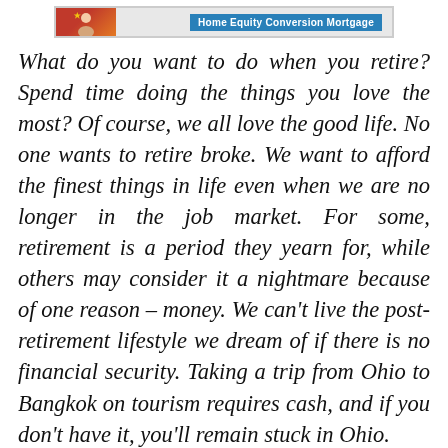[Figure (other): Banner image for Home Equity Conversion Mortgage with a star/person graphic on the left and blue text label on the right]
What do you want to do when you retire? Spend time doing the things you love the most? Of course, we all love the good life. No one wants to retire broke. We want to afford the finest things in life even when we are no longer in the job market. For some, retirement is a period they yearn for, while others may consider it a nightmare because of one reason – money. We can't live the post-retirement lifestyle we dream of if there is no financial security. Taking a trip from Ohio to Bangkok on tourism requires cash, and if you don't have it, you'll remain stuck in Ohio.